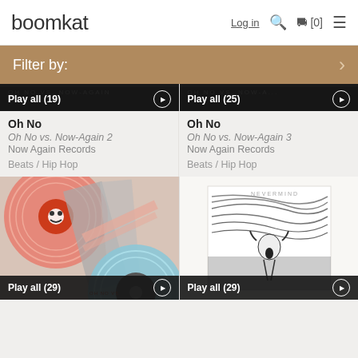boomkat  Log in  [0]
Filter by:
[Figure (screenshot): Album art for Oh No vs. Now-Again 2, partially cropped, dark background with Play all (19) bar]
Oh No
Oh No vs. Now-Again 2
Now Again Records
Beats / Hip Hop
[Figure (screenshot): Album art for Oh No vs. Now-Again 3, partially cropped, dark background with Play all (25) bar]
Oh No
Oh No vs. Now-Again 3
Now Again Records
Beats / Hip Hop
[Figure (illustration): Colorful vinyl record artwork with geometric shapes, pink and blue circles, abstract face, Play all (29) bar at bottom]
[Figure (illustration): White cover with The Scream-style image, Play all (29) bar at bottom]